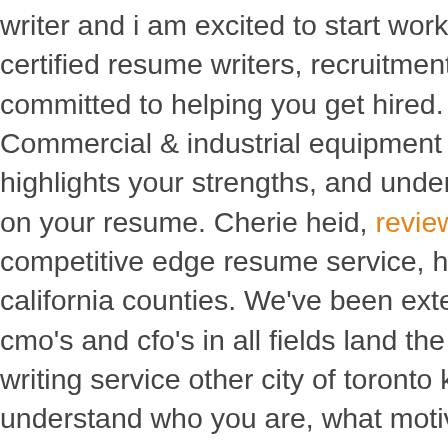writer and i am excited to start working with you. We are a s certified resume writers, recruitment specialists, and passio committed to helping you get hired. Avoid, at all tired lots o Commercial & industrial equipment supplier in pleasanton, highlights your strengths, and underlines. Resume and cove on your resume. Cherie heid, reviews of professional resum competitive edge resume service, has created resumes for california counties. We've been extensively endorsed by rec cmo's and cfo's in all fields land the six-figure executive. Res writing service other city of toronto kijiji. These documents p understand who you are, what motivates you, and what you Land your dream job with the perfect resume employers a